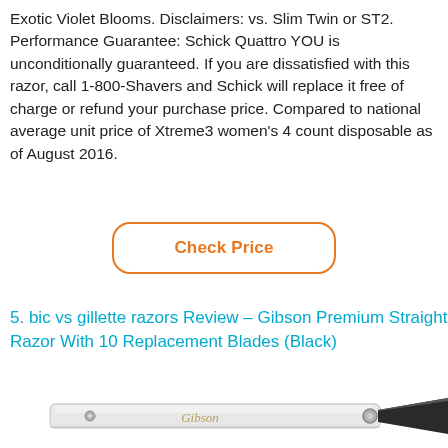Exotic Violet Blooms. Disclaimers: vs. Slim Twin or ST2. Performance Guarantee: Schick Quattro YOU is unconditionally guaranteed. If you are dissatisfied with this razor, call 1-800-Shavers and Schick will replace it free of charge or refund your purchase price. Compared to national average unit price of Xtreme3 women's 4 count disposable as of August 2016.
[Figure (other): Orange-outlined rounded rectangle button with text 'Check Price' in orange]
5. bic vs gillette razors Review – Gibson Premium Straight Razor With 10 Replacement Blades (Black)
[Figure (photo): Photo of a Gibson brand straight razor with a metal handle and black blade, partially open]